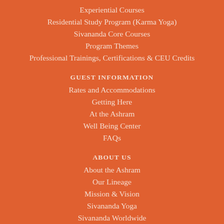Experiential Courses
Residential Study Program (Karma Yoga)
Sivananda Core Courses
Program Themes
Professional Trainings, Certifications & CEU Credits
GUEST INFORMATION
Rates and Accommodations
Getting Here
At the Ashram
Well Being Center
FAQs
ABOUT US
About the Ashram
Our Lineage
Mission & Vision
Sivananda Yoga
Sivananda Worldwide